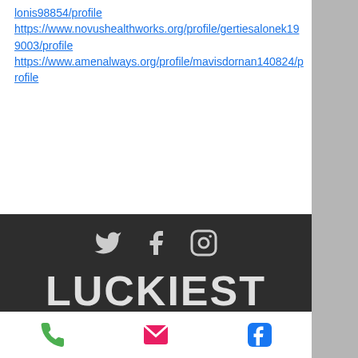https://www.novushealthworks.org/profile/gertiesalonek199003/profile
https://www.amenalways.org/profile/mavisdornan140824/profile
[Figure (infographic): Dark background footer banner with social media icons (Twitter, Facebook, Instagram), bold text 'LUCKIEST GUY IN THE WORLD', contact info text, email link luckiestguyintheworldabrams@gmail.com, and a scroll-up button]
[Figure (infographic): Bottom navigation bar with phone icon (green), email icon (red/pink), and Facebook icon (blue)]